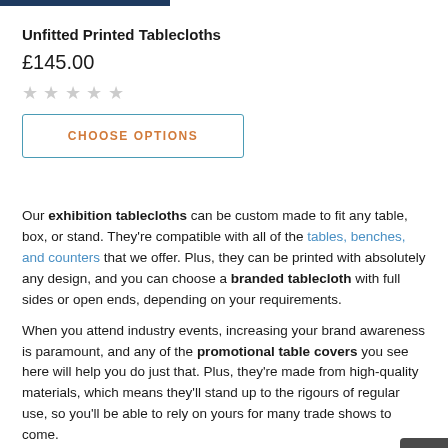Unfitted Printed Tablecloths
£145.00
★★★★★ (empty stars)
CHOOSE OPTIONS
Our exhibition tablecloths can be custom made to fit any table, box, or stand. They're compatible with all of the tables, benches, and counters that we offer. Plus, they can be printed with absolutely any design, and you can choose a branded tablecloth with full sides or open ends, depending on your requirements.
When you attend industry events, increasing your brand awareness is paramount, and any of the promotional table covers you see here will help you do just that. Plus, they're made from high-quality materials, which means they'll stand up to the rigours of regular use, so you'll be able to rely on yours for many trade shows to come.